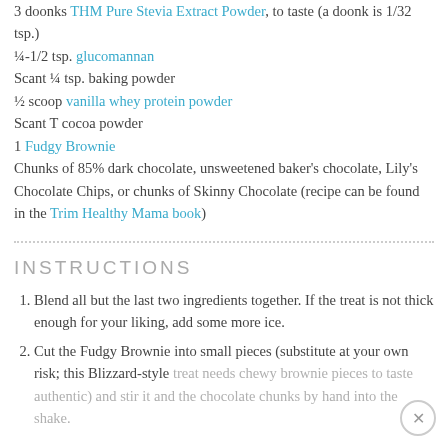3 doonks THM Pure Stevia Extract Powder, to taste (a doonk is 1/32 tsp.)
¼-1/2 tsp. glucomannan
Scant ¼ tsp. baking powder
½ scoop vanilla whey protein powder
Scant T cocoa powder
1 Fudgy Brownie
Chunks of 85% dark chocolate, unsweetened baker's chocolate, Lily's Chocolate Chips, or chunks of Skinny Chocolate (recipe can be found in the Trim Healthy Mama book)
INSTRUCTIONS
Blend all but the last two ingredients together. If the treat is not thick enough for your liking, add some more ice.
Cut the Fudgy Brownie into small pieces (substitute at your own risk; this Blizzard-style treat needs chewy brownie pieces to taste authentic) and stir it and the chocolate chunks by hand into the shake.